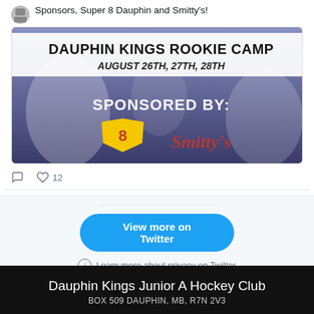Sponsors, Super 8 Dauphin and Smitty's!
[Figure (photo): Dauphin Kings Rookie Camp advertisement image showing 'DAUPHIN KINGS ROOKIE CAMP AUGUST 26TH, 27TH, 28TH SPONSORED BY:' with Super 8 and Smitty's logos on a hockey background]
12
View more on Twitter
Learn more about privacy on Twitter
Dauphin Kings Junior A Hockey Club
BOX 509 DAUPHIN, MB, R7N 2V3